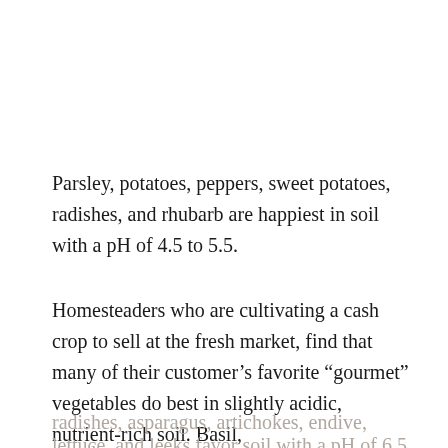Parsley, potatoes, peppers, sweet potatoes, radishes, and rhubarb are happiest in soil with a pH of 4.5 to 5.5.
Homesteaders who are cultivating a cash crop to sell at the fresh market, find that many of their customer's favorite “gourmet” vegetables do best in slightly acidic, nutrient-rich soil. Basil, radishes, asparagus, artichokes, endive, eggplant, lettuce, and leeks favor soil with a pH of 6.5 to